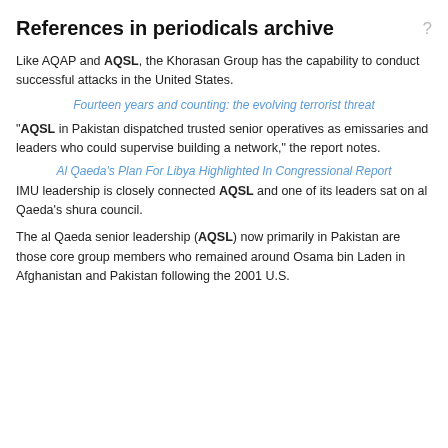References in periodicals archive
Like AQAP and AQSL, the Khorasan Group has the capability to conduct successful attacks in the United States.
Fourteen years and counting: the evolving terrorist threat
"AQSL in Pakistan dispatched trusted senior operatives as emissaries and leaders who could supervise building a network," the report notes.
Al Qaeda's Plan For Libya Highlighted In Congressional Report
IMU leadership is closely connected AQSL and one of its leaders sat on al Qaeda's shura council.
The al Qaeda senior leadership (AQSL) now primarily in Pakistan are those core group members who remained around Osama bin Laden in Afghanistan and Pakistan following the 2001 U.S.
FEATURED VIDEOS
Powered by [primis]
[Figure (screenshot): Video thumbnail showing an animated cartoon scene with a character at a desk, with text 'a hot mess' visible in the upper right.]